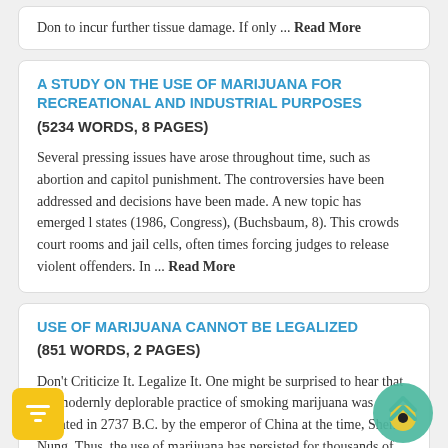Don to incur further tissue damage. If only ... Read More
A STUDY ON THE USE OF MARIJUANA FOR RECREATIONAL AND INDUSTRIAL PURPOSES (5234 WORDS, 8 PAGES)
Several pressing issues have arose throughout time, such as abortion and capitol punishment. The controversies have been addressed and decisions have been made. A new topic has emerged l states (1986, Congress), (Buchsbaum, 8). This crowds court rooms and jail cells, often times forcing judges to release violent offenders. In ... Read More
USE OF MARIJUANA CANNOT BE LEGALIZED (851 WORDS, 2 PAGES)
Don't Criticize It. Legalize It. One might be surprised to hear that the modernly deplorable practice of smoking marijuana was initiated in 2737 B.C. by the emperor of China at the time, Shen Nung. Thus, the use of marijuana has persisted for thousands of years since its first medicinal